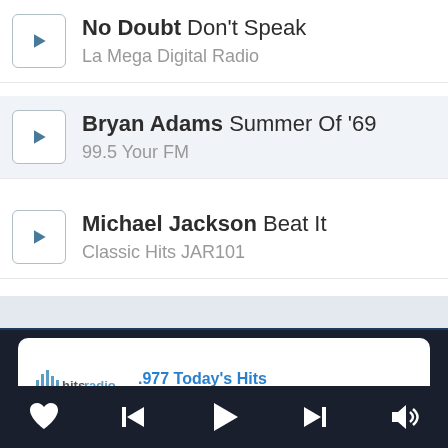No Doubt Don't Speak
La Mega Digital Radio
Bryan Adams Summer Of '69
99.5 Your FM
Michael Jackson Beat It
Classic Hits JAR101
[Figure (screenshot): Now playing card showing hitsradio logo and .977 Today's Hits station name in blue]
[Figure (other): Media player controls bar with heart, skip back, play, skip forward, and volume icons on dark background]